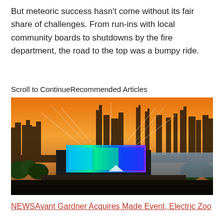But meteoric success hasn't come without its fair share of challenges. From run-ins with local community boards to shutdowns by the fire department, the road to the top was a bumpy ride.
Scroll to ContinueRecommended Articles
[Figure (photo): Aerial view of an outdoor music festival (Electric Zoo or similar) at dusk/sunset with a large illuminated stage with blue/green LED screens, massive crowd, a river in the background, and the New York City skyline silhouetted against an orange sky.]
NEWSAvant Gardner Acquires Made Event, Electric Zoo